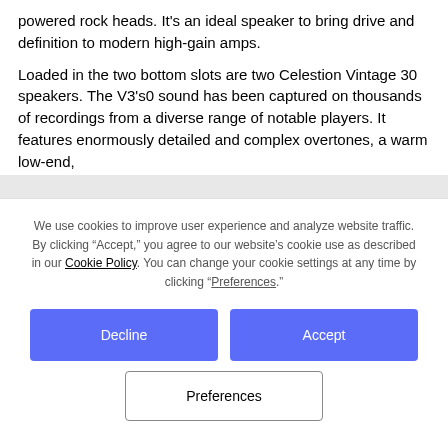powered rock heads. It's an ideal speaker to bring drive and definition to modern high-gain amps.
Loaded in the two bottom slots are two Celestion Vintage 30 speakers. The V3's0 sound has been captured on thousands of recordings from a diverse range of notable players. It features enormously detailed and complex overtones, a warm low-end,
We use cookies to improve user experience and analyze website traffic. By clicking “Accept,” you agree to our website’s cookie use as described in our Cookie Policy. You can change your cookie settings at any time by clicking “Preferences.”